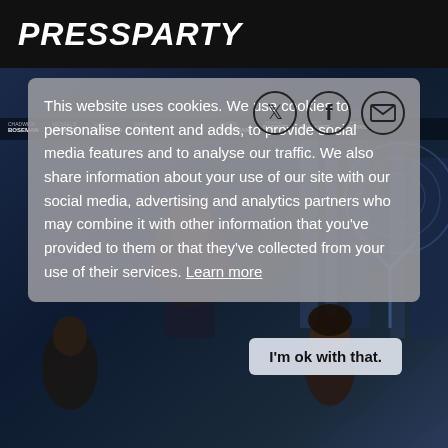PRESSPARTY
[Figure (photo): Black Panther movie poster background showing characters from the film in a dark blue/teal sci-fi setting]
This website uses cookies. We use cookies to personalise content and adds, to provide social media features and to analyse our traffic. We also share information about your use of our site with our social media, advertising and analytics partners who may combine it with other information that you've provided to them or that they've collected from your use of their services. Learn more
I'm ok with that.